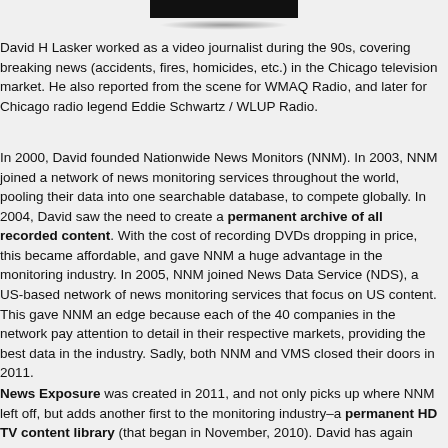[Figure (photo): A dark rectangular image or screen at the top of the page, with a shadow below it.]
David H Lasker worked as a video journalist during the 90s, covering breaking news (accidents, fires, homicides, etc.) in the Chicago television market. He also reported from the scene for WMAQ Radio, and later for Chicago radio legend Eddie Schwartz / WLUP Radio.
In 2000, David founded Nationwide News Monitors (NNM). In 2003, NNM joined a network of news monitoring services throughout the world, pooling their data into one searchable database, to compete globally. In 2004, David saw the need to create a permanent archive of all recorded content. With the cost of recording DVDs dropping in price, this became affordable, and gave NNM a huge advantage in the monitoring industry. In 2005, NNM joined News Data Service (NDS), a US-based network of news monitoring services that focus on US content. This gave NNM an edge because each of the 40 companies in the network pay attention to detail in their respective markets, providing the best data in the industry. Sadly, both NNM and VMS closed their doors in 2011.
News Exposure was created in 2011, and not only picks up where NNM left off, but adds another first to the monitoring industry–a permanent HD TV content library (that began in November, 2010). David has again brought a new exclusive niche to the industry.